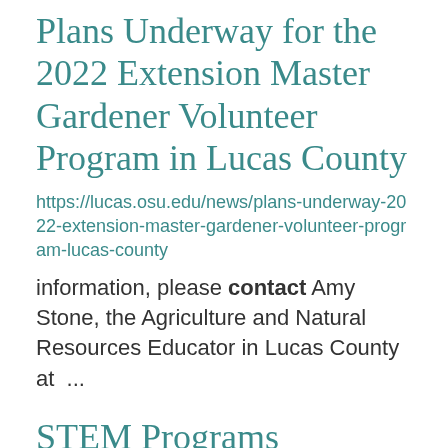Plans Underway for the 2022 Extension Master Gardener Volunteer Program in Lucas County
https://lucas.osu.edu/news/plans-underway-2022-extension-master-gardener-volunteer-program-lucas-county
information, please contact Amy Stone, the Agriculture and Natural Resources Educator in Lucas County at  ...
STEM Programs
https://lucas.osu.edu/STEM
For more information, please contact Jess Soffee, Educator, 4H Youth Development,